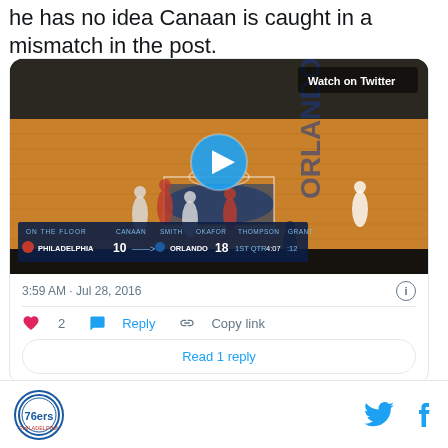he has no idea Canaan is caught in a mismatch in the post.
[Figure (screenshot): Embedded tweet card showing a video thumbnail of an NBA basketball game (Philadelphia 76ers vs Orlando Magic). The video shows the court with players mid-play. A 'Watch on Twitter' label is in the top right. A play button circle is centered on the image. Scoreboard at bottom shows: ON THE FLOOR - CANAAN, SMITH, OKAFOR (PHILADELPHIA 10) vs THOMPSON, GRANT (ORLANDO 18), 1ST QTR 4:07. Below: timestamp 3:59 AM · Jul 28, 2016 with info icon. Actions row: heart (2), Reply, Copy link. Read 1 reply button.]
Philadelphia 76ers logo | Twitter icon | Facebook icon